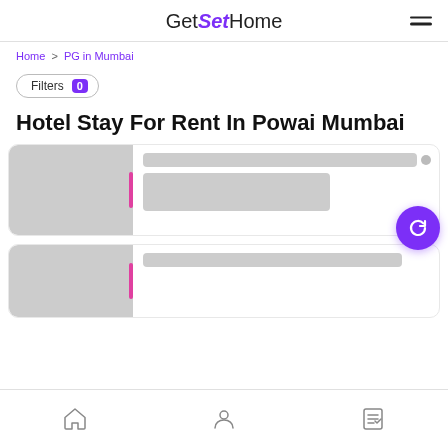GetSetHome
Home > PG in Mumbai
Filters 0
Hotel Stay For Rent In Powai Mumbai
[Figure (screenshot): Two listing card placeholders with grey image area and grey content bars]
Home | Profile | Documents